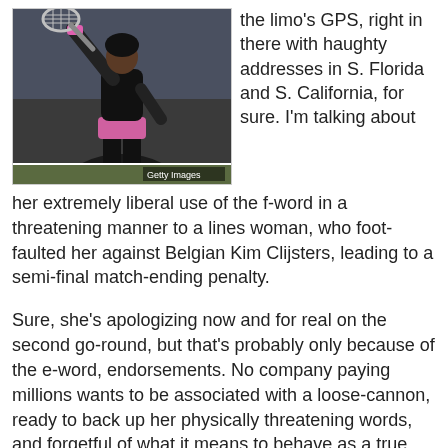[Figure (photo): Photo of a tennis player (Serena Williams) in dark outfit with pink wristband, holding a tennis racket, with Getty Images watermark]
the limo's GPS, right in there with haughty addresses in S. Florida and S. California, for sure. I'm talking about her extremely liberal use of the f-word in a threatening manner to a lines woman, who foot-faulted her against Belgian Kim Clijsters, leading to a semi-final match-ending penalty.
Sure, she's apologizing now and for real on the second go-round, but that's probably only because of the e-word, endorsements. No company paying millions wants to be associated with a loose-cannon, ready to back up her physically threatening words, and forgetful of what it means to behave as a true champion.
In fairness, the lines woman should be exiled to Greenland. She compounded a wrong call, with a bad (bogus) call. Anyone who knows championship tennis knows that a foot-fault should never decide a game, a set, or a match. Furthermore, both the lineswoman and the foot rule...